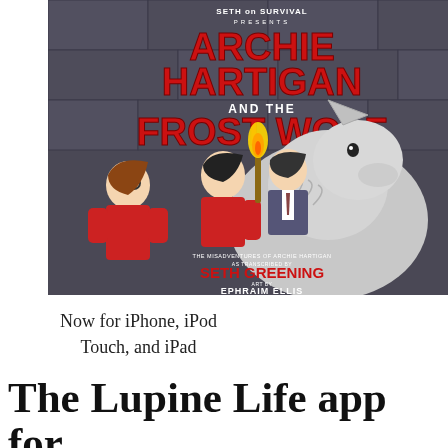[Figure (illustration): Book cover for 'Archie Hartigan and the Frost Wolf' presented by Seth on Survival. Features cartoon characters (a girl with glasses, a boy in red hoodie, a man in suit) facing a large white wolf, with a torch. Author: Seth Greening, Art by: Ephraim Ellis. Dark stone wall background.]
Now for iPhone, iPod Touch, and iPad
The Lupine Life app for Werewolves